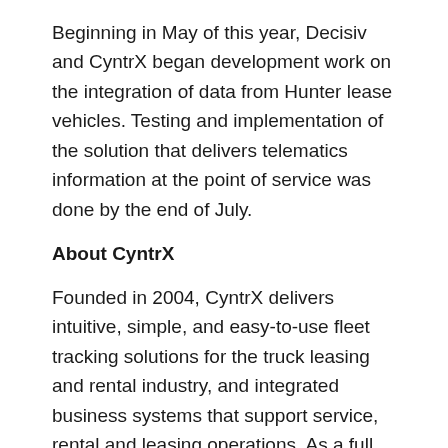Beginning in May of this year, Decisiv and CyntrX began development work on the integration of data from Hunter lease vehicles. Testing and implementation of the solution that delivers telematics information at the point of service was done by the end of July.
About CyntrX
Founded in 2004, CyntrX delivers intuitive, simple, and easy-to-use fleet tracking solutions for the truck leasing and rental industry, and integrated business systems that support service, rental and leasing operations. As a full service telematics provider, CyntrX operates on standard wireless networks, desktop and mobile